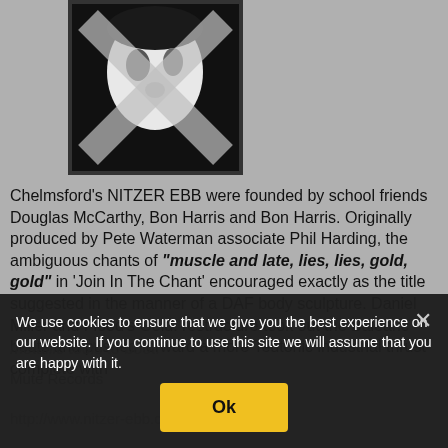[Figure (photo): Black and white album cover image for Nitzer Ebb showing a face with a large X cross overlay, black border, on dark background]
Chelmsford's NITZER EBB were founded by school friends Douglas McCarthy, Bon Harris and Bon Harris. Originally produced by Pete Waterman associate Phil Harding, the ambiguous chants of "muscle and late, lies, lies, gold, gold" in 'Join In The Chant' encouraged exactly as the title suggested in the manner of a DAF body sculpture. Daniel Miller and Flood's Gold! restructure took out the Balearic beats and pushed forward a more Teutonic industrial thrust complete with metallic tools to boot.
Mute Records
http://www.nitzer-ebb.co
We use cookies to ensure that we give you the best experience on our website. If you continue to use this site we will assume that you are happy with it.